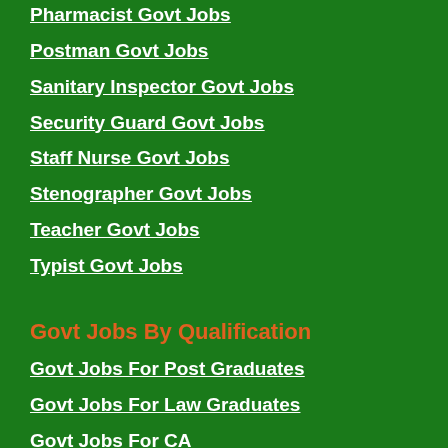Pharmacist Govt Jobs
Postman Govt Jobs
Sanitary Inspector Govt Jobs
Security Guard Govt Jobs
Staff Nurse Govt Jobs
Stenographer Govt Jobs
Teacher Govt Jobs
Typist Govt Jobs
Govt Jobs By Qualification
Govt Jobs For Post Graduates
Govt Jobs For Law Graduates
Govt Jobs For CA